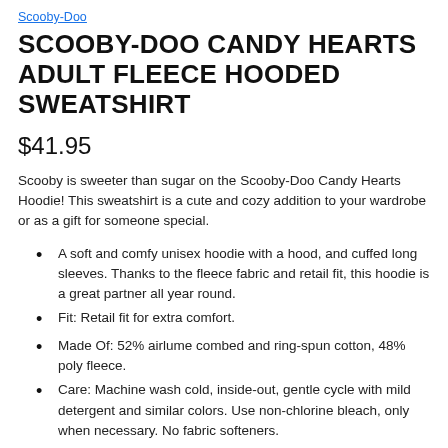Scooby-Doo
SCOOBY-DOO CANDY HEARTS ADULT FLEECE HOODED SWEATSHIRT
$41.95
Scooby is sweeter than sugar on the Scooby-Doo Candy Hearts Hoodie! This sweatshirt is a cute and cozy addition to your wardrobe or as a gift for someone special.
A soft and comfy unisex hoodie with a hood, and cuffed long sleeves. Thanks to the fleece fabric and retail fit, this hoodie is a great partner all year round.
Fit: Retail fit for extra comfort.
Made Of: 52% airlume combed and ring-spun cotton, 48% poly fleece.
Care: Machine wash cold, inside-out, gentle cycle with mild detergent and similar colors. Use non-chlorine bleach, only when necessary. No fabric softeners.